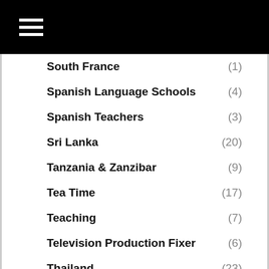South France (1)
Spanish Language Schools (4)
Spanish Teachers (3)
Sri Lanka (20)
Tanzania & Zanzibar (9)
Tea Time (17)
Teaching (7)
Television Production Fixer (6)
Thailand (23)
The Denver Post (92)
The Gambia (12)